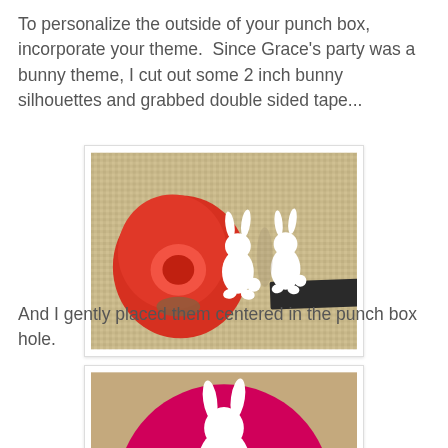To personalize the outside of your punch box, incorporate your theme.  Since Grace's party was a bunny theme, I cut out some 2 inch bunny silhouettes and grabbed double sided tape...
[Figure (photo): A red tape dispenser and two white paper bunny silhouettes placed on a woven texture mat with a black stripe.]
And I gently placed them centered in the punch box hole.
[Figure (photo): A magenta/pink circle on cardboard with a white bunny silhouette centered in the middle, partially visible at the bottom of the page.]